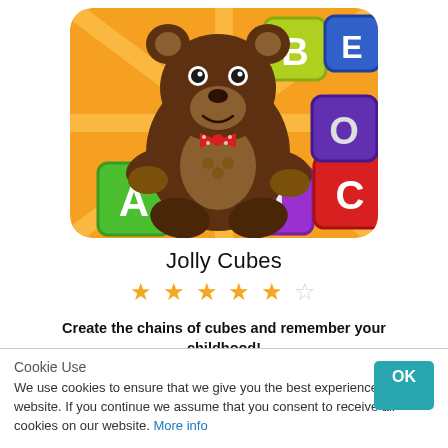[Figure (illustration): Cartoon teddy bear with a red polka-dot bow tie surrounded by colorful alphabet letter cubes (A, B, E, O, T, C) on an orange background. App icon image for Jolly Cubes.]
Jolly Cubes
[Figure (other): 5-star rating display: 4.5 out of 5 stars (4 filled gold stars, 1 half/empty star)]
Create the chains of cubes and remember your childhood!
Cookie Use
We use cookies to ensure that we give you the best experience on our website. If you continue we assume that you consent to receive all cookies on our website. More info